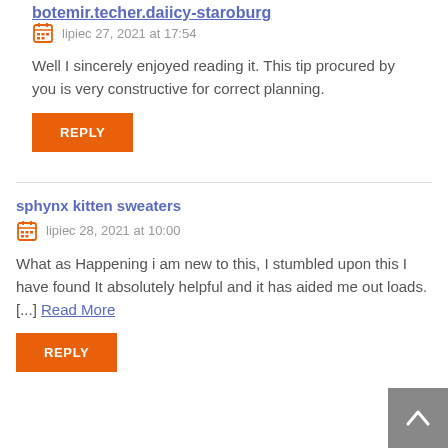lipiec 27, 2021 at 17:54
Well I sincerely enjoyed reading it. This tip procured by you is very constructive for correct planning.
REPLY
sphynx kitten sweaters
lipiec 28, 2021 at 10:00
What as Happening i am new to this, I stumbled upon this I have found It absolutely helpful and it has aided me out loads. [...] Read More
REPLY